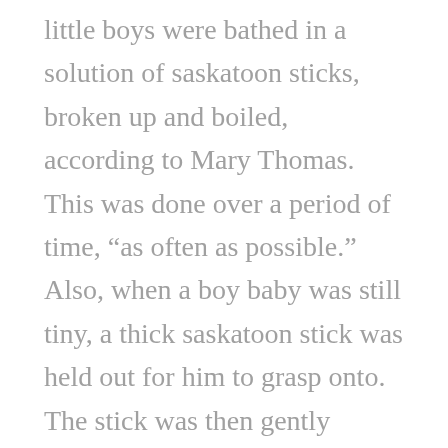little boys were bathed in a solution of saskatoon sticks, broken up and boiled, according to Mary Thomas. This was done over a period of time, “as often as possible.” Also, when a boy baby was still tiny, a thick saskatoon stick was held out for him to grasp onto. The stick was then gently raised, with the baby holding on, saying “Oh, boy, Oh, boy!” This was to help develop his muscles and make him strong and enduring